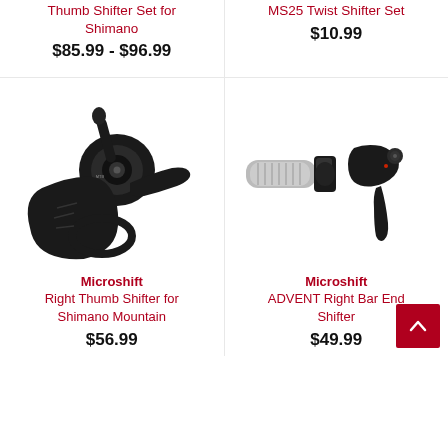Thumb Shifter Set for Shimano
$85.99 - $96.99
MS25 Twist Shifter Set
$10.99
[Figure (photo): Microshift Right Thumb Shifter for Shimano Mountain - black thumb shifter component]
Microshift Right Thumb Shifter for Shimano Mountain
$56.99
[Figure (photo): Microshift ADVENT Right Bar End Shifter - two black bar end shifter components]
Microshift ADVENT Right Bar End Shifter
$49.99